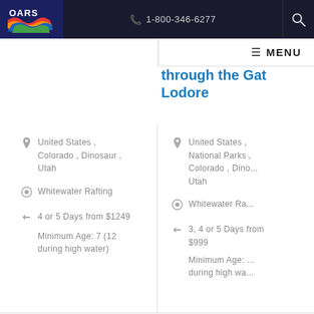OARS | 1-800-346-6277
through the Gat... Lodore
United States , Colorado , Dinosaur , Utah
Whitewater Rafting
4 or 5 Days from $1249
Minimum Age: 7 (12 during high water)
United States , National Parks , Colorado , Dino... Utah
Whitewater Ra...
3, 4 or 5 Days from $999
Minimum Age: ... during high wa...